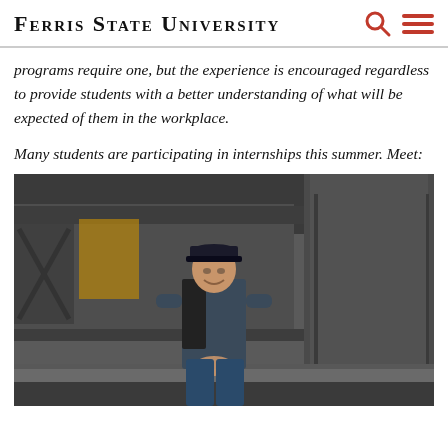Ferris State University
programs require one, but the experience is encouraged regardless to provide students with a better understanding of what will be expected of them in the workplace.

Many students are participating in internships this summer. Meet:
[Figure (photo): A student intern wearing a cap and polo shirt smiling in an industrial manufacturing facility, standing in front of large metal structures and equipment.]